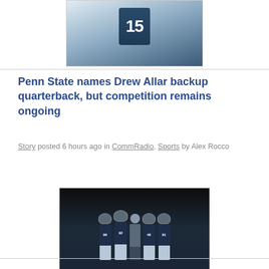[Figure (photo): Football player wearing jersey number 15 in dark blue Penn State uniform, cropped from shoulders up]
Penn State names Drew Allar backup quarterback, but competition remains ongoing
Story posted 6 hours ago in CommRadio, Sports by Alex Rocco
[Figure (photo): Penn State football players wearing dark jerseys with numbers 99, 92, 46, 91 running out of a tunnel with a coach in the center]
Penn State...